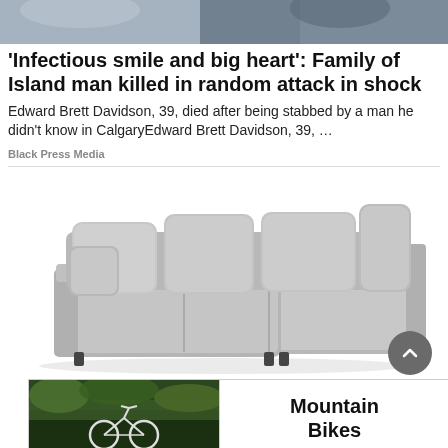[Figure (photo): Partial photo at top of page, blurred/cropped background scene]
'Infectious smile and big heart': Family of Island man killed in random attack in shock
Edward Brett Davidson, 39, died after being stabbed by a man he didn't know in CalgaryEdward Brett Davidson, 39, …
Black Press Media
[Figure (photo): Gray sectional L-shaped sofa with plush cushions on white background]
[Figure (photo): Advertisement banner with mountain bike image on left and 'Mountain Bikes' text on right]